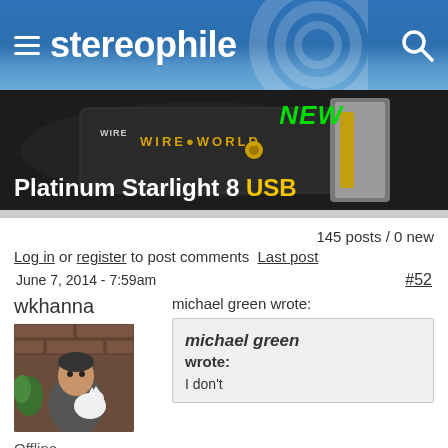stereophile
[Figure (photo): Advertisement for WireWorld Platinum Starlight 8 USB cable. Dark background with cable image, 'NEW' in green, brand name in gold, and 'Platinum Starlight 8 USB' in white and yellow text.]
145 posts / 0 new
Log in or register to post comments  Last post
June 7, 2014 - 7:59am    #52
wkhanna
[Figure (photo): Avatar photo of user wkhanna holding a white cat/dog, sitting near a brick wall.]
Offline
michael green wrote:
michael green wrote: I don't